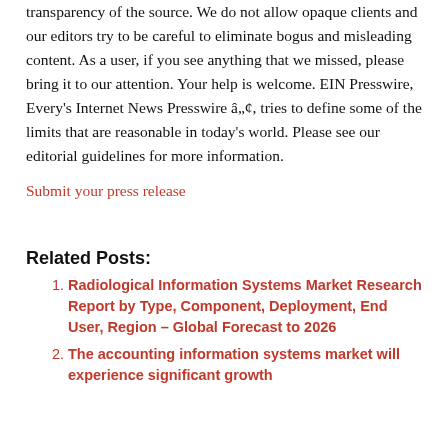transparency of the source. We do not allow opaque clients and our editors try to be careful to eliminate bogus and misleading content. As a user, if you see anything that we missed, please bring it to our attention. Your help is welcome. EIN Presswire, Every's Internet News Presswire â„¢, tries to define some of the limits that are reasonable in today's world. Please see our editorial guidelines for more information.
Submit your press release
Related Posts:
Radiological Information Systems Market Research Report by Type, Component, Deployment, End User, Region – Global Forecast to 2026
The accounting information systems market will experience significant growth